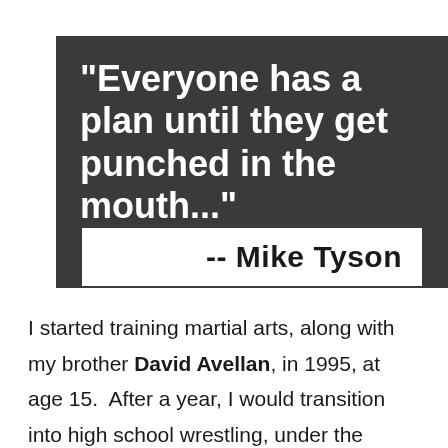"Everyone has a plan until they get punched in the mouth..."
-- Mike Tyson
I started training martial arts, along with my brother David Avellan, in 1995, at age 15. After a year, I would transition into high school wrestling, under the guidance of Tirso Valls. After graduating high school, I moved on to mixed martial arts, training under